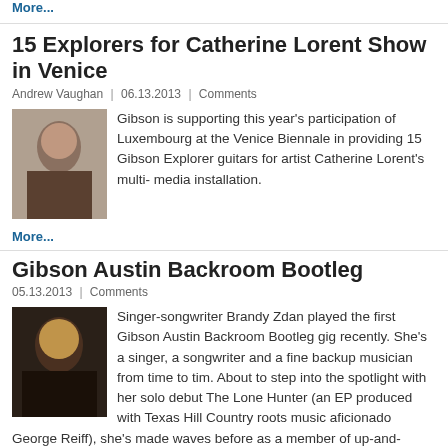More...
15 Explorers for Catherine Lorent Show in Venice
Andrew Vaughan | 06.13.2013 | Comments
Gibson is supporting this year's participation of Luxembourg at the Venice Biennale in providing 15 Gibson Explorer guitars for artist Catherine Lorent's multi- media installation.
More...
Gibson Austin Backroom Bootleg
05.13.2013 | Comments
Singer-songwriter Brandy Zdan played the first Gibson Austin Backroom Bootleg gig recently. She's a singer, a songwriter and a fine backup musician from time to tim. About to step into the spotlight with her solo debut The Lone Hunter (an EP produced with Texas Hill Country roots music aficionado George Reiff), she's made waves before as a member of up-and-coming folk band The Trishas.
More...